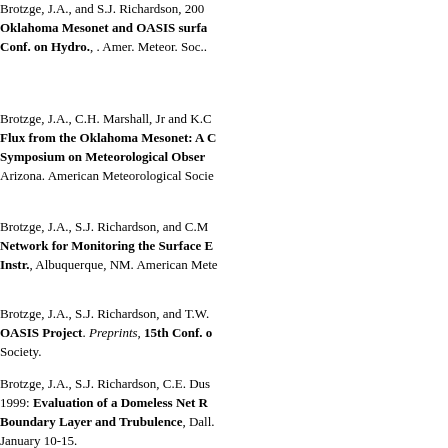Brotzge, J.A., and S.J. Richardson, 200: Oklahoma Mesonet and OASIS surfa Conf. on Hydro., . Amer. Meteor. Soc..
Brotzge, J.A., C.H. Marshall, Jr and K.C Flux from the Oklahoma Mesonet: A C Symposium on Meteorological Obser Arizona. American Meteorological Socie
Brotzge, J.A., S.J. Richardson, and C.M Network for Monitoring the Surface E Instr., Albuquerque, NM. American Mete
Brotzge, J.A., S.J. Richardson, and T.W. OASIS Project. Preprints, 15th Conf. o Society.
Brotzge, J.A., S.J. Richardson, C.E. Dus 1999: Evaluation of a Domeless Net R Boundary Layer and Trubulence, Dall. January 10-15.
Brotzge, J.A., S.J. Richardson, K.C. Cra Sorbjan, and R.L. Elliott, 1999: The Okl Instrumentation System (OASIS) Proj Boundary Layers and Turbulence, Da